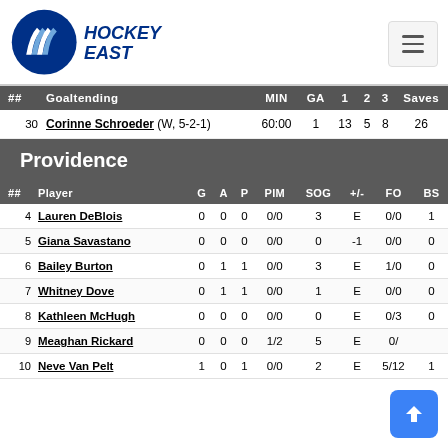Hockey East
| ## | Goaltending | MIN | GA | 1 | 2 | 3 | Saves |
| --- | --- | --- | --- | --- | --- | --- | --- |
| 30 | Corinne Schroeder (W, 5-2-1) | 60:00 | 1 | 13 | 5 | 8 | 26 |
Providence
| ## | Player | G | A | P | PIM | SOG | +/- | FO | BS |
| --- | --- | --- | --- | --- | --- | --- | --- | --- | --- |
| 4 | Lauren DeBlois | 0 | 0 | 0 | 0/0 | 3 | E | 0/0 | 1 |
| 5 | Giana Savastano | 0 | 0 | 0 | 0/0 | 0 | -1 | 0/0 | 0 |
| 6 | Bailey Burton | 0 | 1 | 1 | 0/0 | 3 | E | 1/0 | 0 |
| 7 | Whitney Dove | 0 | 1 | 1 | 0/0 | 1 | E | 0/0 | 0 |
| 8 | Kathleen McHugh | 0 | 0 | 0 | 0/0 | 0 | E | 0/3 | 0 |
| 9 | Meaghan Rickard | 0 | 0 | 0 | 1/2 | 5 | E | 0/... |  |
| 10 | Neve Van Pelt | 1 | 0 | 1 | 0/0 | 2 | E | 5/12 | 1 |